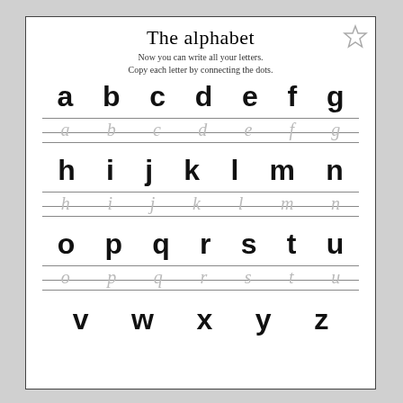The alphabet
Now you can write all your letters.
Copy each letter by connecting the dots.
[Figure (illustration): Star outline icon in top right corner]
a b c d e f g
[Figure (illustration): Dotted tracing letters a b c d e f g on ruled lines]
h i j k l m n
[Figure (illustration): Dotted tracing letters h i j k l m n on ruled lines]
o p q r s t u
[Figure (illustration): Dotted tracing letters o p q r s t u on ruled lines]
v w x y z